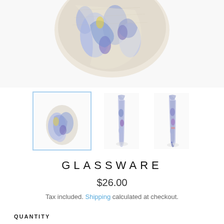[Figure (photo): Close-up of a paisley patterned necktie in blue, cream, and purple, shown from above at an angle]
[Figure (photo): Three product thumbnails of a paisley necktie: first (selected, blue border) shows the tie folded, second shows full tie hanging front view, third shows full tie hanging side/back view]
GLASSWARE
$26.00
Tax included. Shipping calculated at checkout.
QUANTITY